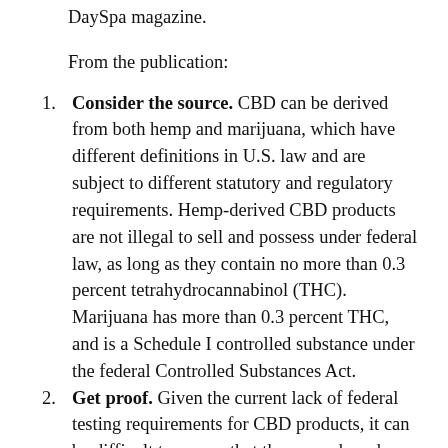DaySpa magazine.
From the publication:
Consider the source. CBD can be derived from both hemp and marijuana, which have different definitions in U.S. law and are subject to different statutory and regulatory requirements. Hemp-derived CBD products are not illegal to sell and possess under federal law, as long as they contain no more than 0.3 percent tetrahydrocannabinol (THC). Marijuana has more than 0.3 percent THC, and is a Schedule I controlled substance under the federal Controlled Substances Act.
Get proof. Given the current lack of federal testing requirements for CBD products, it can be difficult to ensure that those purchased from third-party vendors contain no more than the permitted level of THC. So it's extremely important that spas get anything containing CBD from a trustworthy supplier who can verify...